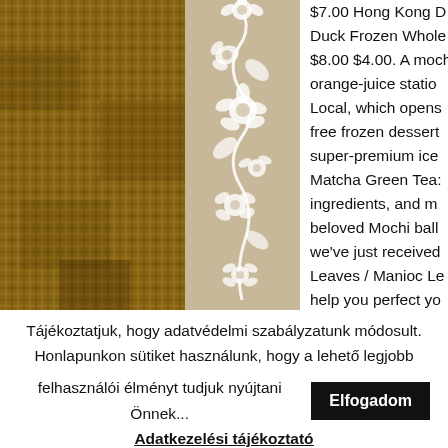[Figure (photo): Burlap/woven fabric texture photograph, brown tones, occupying the left column of the top section]
[Figure (illustration): Decorative white floral vine illustration on beige/tan background, center column]
$7.00 Hong Kong D Duck Frozen Whole $8.00 $4.00. A moch orange-juice statio Local, which opens free frozen dessert super-premium ice Matcha Green Tea: ingredients, and m beloved Mochi ball we've just received Leaves / Manioc Le help you perfect yo
Tájékoztatjuk, hogy adatvédelmi szabályzatunk módosult. Honlapunkon sütiket használunk, hogy a lehető legjobb felhasználói élményt tudjuk nyújtani Önnek...
Elfogadom
Adatkezelési tájékoztató